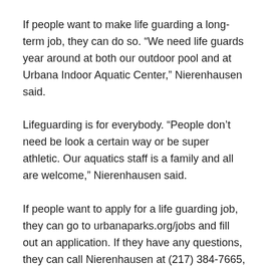If people want to make life guarding a long-term job, they can do so. “We need life guards year around at both our outdoor pool and at Urbana Indoor Aquatic Center,” Nierenhausen said.
Lifeguarding is for everybody. “People don’t need be look a certain way or be super athletic. Our aquatics staff is a family and all are welcome,” Nierenhausen said.
If people want to apply for a life guarding job, they can go to urbanaparks.org/jobs and fill out an application. If they have any questions, they can call Nierenhausen at (217) 384-7665, or email Nierenhausen at jrnierenhausen@urbanaparks.org.
The park district aquatics staff will train and certify the life guards before they are assigned to the pools. “We will work